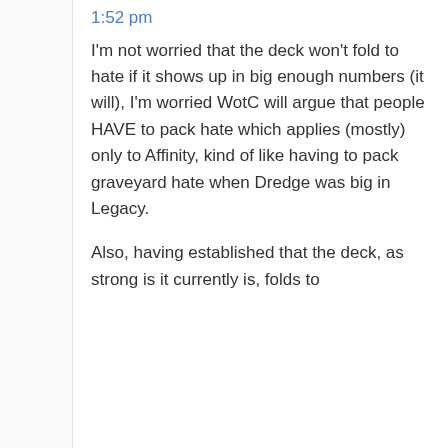1:52 pm
I'm not worried that the deck won't fold to hate if it shows up in big enough numbers (it will), I'm worried WotC will argue that people HAVE to pack hate which applies (mostly) only to Affinity, kind of like having to pack graveyard hate when Dredge was big in Legacy.
Also, having established that the deck, as strong is it currently is, folds to